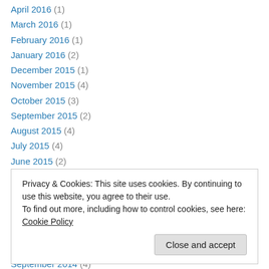April 2016 (1)
March 2016 (1)
February 2016 (1)
January 2016 (2)
December 2015 (1)
November 2015 (4)
October 2015 (3)
September 2015 (2)
August 2015 (4)
July 2015 (4)
June 2015 (2)
May 2015 (5)
April 2015 (4)
Privacy & Cookies: This site uses cookies. By continuing to use this website, you agree to their use.
To find out more, including how to control cookies, see here: Cookie Policy
September 2014 (4)